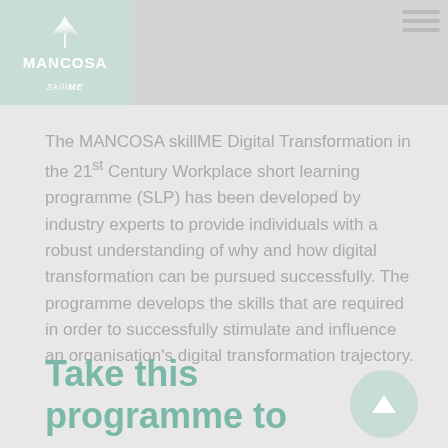[Figure (logo): MANCOSA skillME logo in teal/green box on left side of header]
The MANCOSA skillME Digital Transformation in the 21st Century Workplace short learning programme (SLP) has been developed by industry experts to provide individuals with a robust understanding of why and how digital transformation can be pursued successfully. The programme develops the skills that are required in order to successfully stimulate and influence an organisation's digital transformation trajectory.
Take this programme to